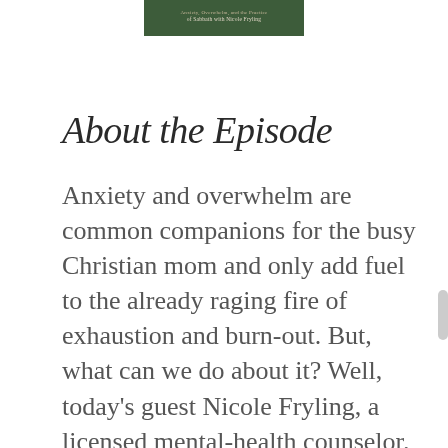[Figure (other): Dark green rectangular header image with text: 'Anxiety, Overwhelm, and the Practice of Sabbath with Nicole Fryling' in cream/gold lettering]
About the Episode
Anxiety and overwhelm are common companions for the busy Christian mom and only add fuel to the already raging fire of exhaustion and burn-out. But, what can we do about it? Well, today's guest Nicole Fryling, a licensed mental-health counselor, suggests that a Sabbath practice gives